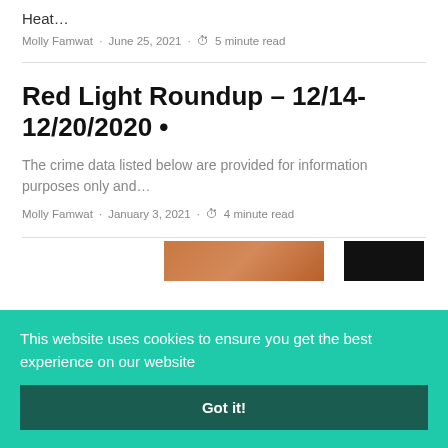Heat…
Molly Famwat · June 25, 2021 · 5 minute read
Red Light Roundup – 12/14-12/20/2020 •
The crime data listed below are provided for information purposes only and…
Molly Famwat · January 3, 2021 · 4 minute read
This website uses cookies to ensure you get the best experience on our website
Got it!